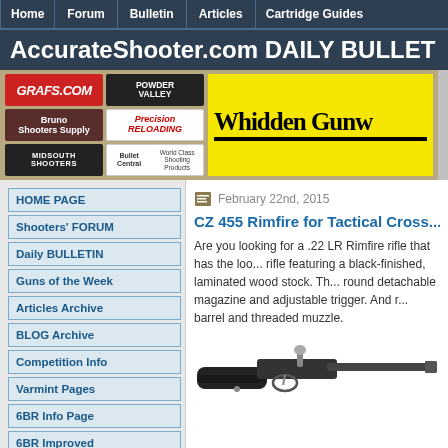Home | Forum | Bulletin | Articles | Cartridge Guides
AccurateShooter.com DAILY BULLET
[Figure (screenshot): Advertiser logos strip: Grafs.com, Powder Valley, Bruno Shooters Supply, Precision Reloading, Midsouth Shooters, Bullet Central, and Whidden Gunw... banner (yellow background)]
HOME PAGE
Shooters' FORUM
Daily BULLETIN
Guns of the Week
Articles Archive
BLOG Archive
Competition Info
Varmint Pages
6BR Info Page
6BR Improved
17 CAL Info Page
February 22nd, 2015
CZ 455 Rimfire for Tactical Cross...
Are you looking for a .22 LR Rimfire rifle that has the look of a tactical rifle featuring a black-finished, laminated wood stock. Th... round detachable magazine and adjustable trigger. And r... barrel and threaded muzzle.
[Figure (photo): Photograph of a CZ 455 Rimfire rifle with black stock, showing the bolt-action and barrel portion]